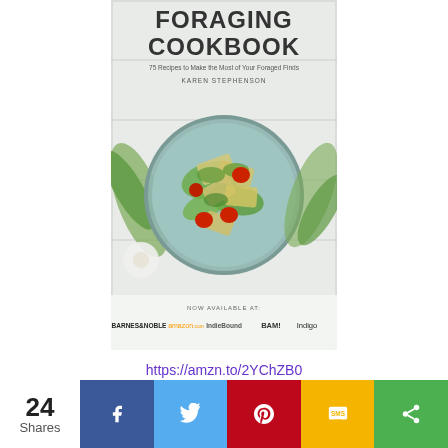[Figure (illustration): Book cover of 'Foraging Cookbook' by Karen Stephenson. Shows a plate of pasta with greens and tomatoes. Subtitle: '75 Recipes to Make the Most of Your Foraged Finds'. Available at Barnes & Noble, amazon.com, IndieBound, BAM!, Indigo.]
https://amzn.to/2YChZB0
Alphabetical Plant Listing
24 Shares